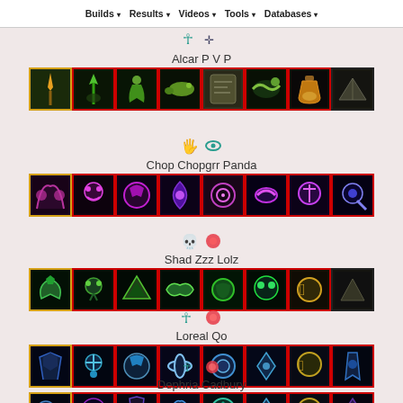Builds | Results | Videos | Tools | Databases
Alcar P V P
[Figure (screenshot): Row of 8 ability/skill icons with gold and red borders for build Alcar PVP]
Chop Chopgrr Panda
[Figure (screenshot): Row of 8 purple/dark ability icons with red and gold borders for build Chop Chopgrr Panda]
Shad Zzz Lolz
[Figure (screenshot): Row of 8 green/teal ability icons with red and gold borders for build Shad Zzz Lolz]
Loreal Qo
[Figure (screenshot): Row of 8 blue/teal ability icons with red and gold borders for build Loreal Qo]
Dephria Cadbury
[Figure (screenshot): Row of 8 blue/purple ability icons with red and gold borders for build Dephria Cadbury]